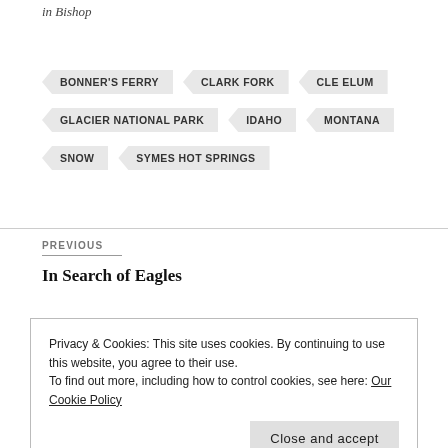in Bishop
BONNER'S FERRY
CLARK FORK
CLE ELUM
GLACIER NATIONAL PARK
IDAHO
MONTANA
SNOW
SYMES HOT SPRINGS
PREVIOUS
In Search of Eagles
Privacy & Cookies: This site uses cookies. By continuing to use this website, you agree to their use.
To find out more, including how to control cookies, see here: Our Cookie Policy